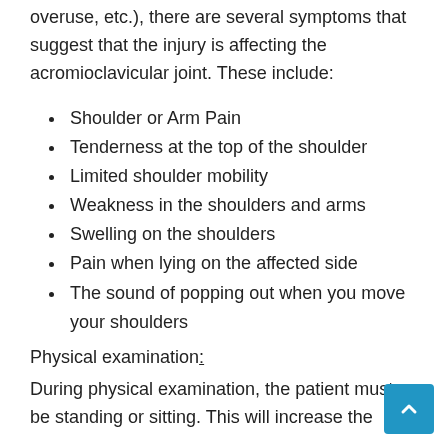overuse, etc.), there are several symptoms that suggest that the injury is affecting the acromioclavicular joint. These include:
Shoulder or Arm Pain
Tenderness at the top of the shoulder
Limited shoulder mobility
Weakness in the shoulders and arms
Swelling on the shoulders
Pain when lying on the affected side
The sound of popping out when you move your shoulders
Physical examination:
During physical examination, the patient must be standing or sitting. This will increase the